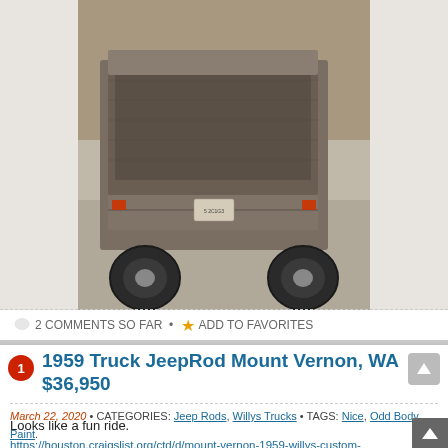[Figure (photo): Rear view of a 1959 Willys Jeep custom truck/rod in a garage or workshop setting. The vehicle has a pickup bed, visible license plate, red taillight, and large tires. The paint appears to be a bare metal or primer finish.]
2 COMMENTS SO FAR • ADD TO FAVORITES
1959 Truck JeepRod Mount Vernon, WA $36,950
March 22, 2020 • CATEGORIES: Jeep Rods, Willys Trucks • TAGS: Nice, Odd Body, Paint.
Looks like a fun ride.
https://houston.craigslist.org/ctd/d/mount-vernon-1959-willys-custom-truck/7094966562.html